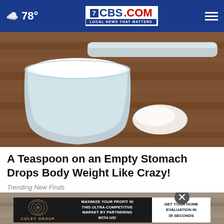78° CBS17.COM LOCAL NEWS THAT MATTERS
[Figure (photo): A measuring cup filled with white powder (sugar or similar substance) on a wooden surface, with a small mound of powder spilled beside it.]
A Teaspoon on an Empty Stomach Drops Body Weight Like Crazy!
Trending New Finds
[Figure (photo): Second article image partially visible with an advertisement overlay. Ad reads: MAXIMIZE YOUR PROFIT IN THIS ULTRA-COMPETITIVE MARKET BY PARTNERING WITH US! GET YOUR HOME EVALUATION IN 35 SECONDS — Coley Group]